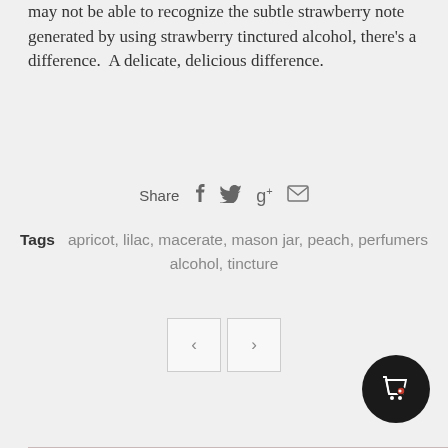may not be able to recognize the subtle strawberry note generated by using strawberry tinctured alcohol, there's a difference.  A delicate, delicious difference.
Share
Tags  apricot, lilac, macerate, mason jar, peach, perfumers alcohol, tincture